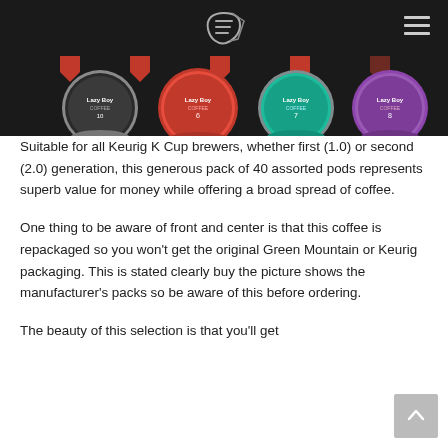[Figure (photo): Row of Lazy Boy coffee K-Cup pods in gray, red, teal, and purple colored containers, shown against a dark background]
Suitable for all Keurig K Cup brewers, whether first (1.0) or second (2.0) generation, this generous pack of 40 assorted pods represents superb value for money while offering a broad spread of coffee.
One thing to be aware of front and center is that this coffee is repackaged so you won't get the original Green Mountain or Keurig packaging. This is stated clearly buy the picture shows the manufacturer's packs so be aware of this before ordering.
The beauty of this selection is that you'll get